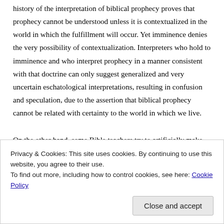history of the interpretation of biblical prophecy proves that prophecy cannot be understood unless it is contextualized in the world in which the fulfillment will occur. Yet imminence denies the very possibility of contextualization. Interpreters who hold to imminence and who interpret prophecy in a manner consistent with that doctrine can only suggest generalized and very uncertain eschatological interpretations, resulting in confusion and speculation, due to the assertion that biblical prophecy cannot be related with certainty to the world in which we live.
On the other hand, some Bible teachers try to artificially make the Bible fit the current state of affairs
Privacy & Cookies: This site uses cookies. By continuing to use this website, you agree to their use.
To find out more, including how to control cookies, see here: Cookie Policy